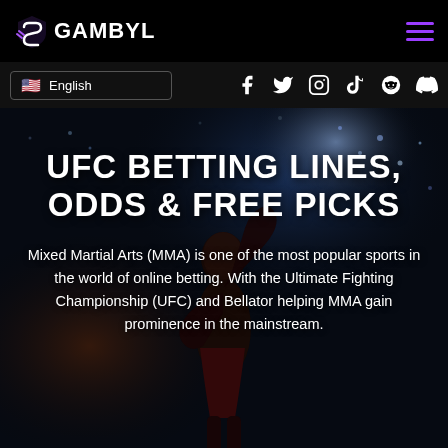[Figure (logo): Gambyl logo — shield/swoosh icon in purple/white with text GAMBYL]
[Figure (illustration): Hamburger menu icon with three purple horizontal lines]
[Figure (illustration): US flag emoji and English language selector, plus social media icons: Facebook, Twitter, Instagram, TikTok, Reddit, Discord]
[Figure (photo): Dark arena background with UFC fighter silhouette, crowd lights, atmospheric dark blue tones]
UFC BETTING LINES, ODDS & FREE PICKS
Mixed Martial Arts (MMA) is one of the most popular sports in the world of online betting. With the Ultimate Fighting Championship (UFC) and Bellator helping MMA gain prominence in the mainstream.